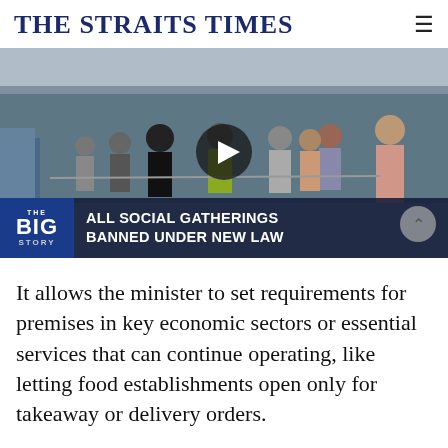THE STRAITS TIMES
[Figure (screenshot): Video thumbnail showing a crowd of people queuing outdoors under a covered walkway. A news broadcast overlay at the bottom reads 'THE BIG STORY: ALL SOCIAL GATHERINGS BANNED UNDER NEW LAW'. A play button is visible in the center of the image.]
It allows the minister to set requirements for premises in key economic sectors or essential services that can continue operating, like letting food establishments open only for takeaway or delivery orders.